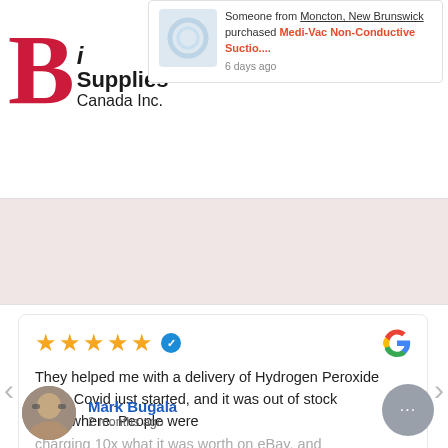[Figure (screenshot): Website notification popup showing someone from Moncton, New Brunswick purchased Medi-Vac Non-Conductive Suctio.... 6 days ago, with product image]
[Figure (logo): Bio Supplies Canada Inc. logo with large red B and black text]
[Figure (screenshot): Google review card showing 5 stars and verified badge, review text about Hydrogen Peroxide delivery during Covid, by Mark Bugala 2 months ago]